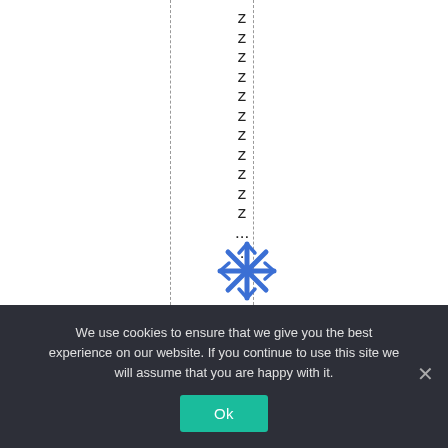[Figure (other): White page with two dashed vertical lines and a column of Z characters stacked vertically, followed by '...' and '.', with a blue snowflake/asterisk icon at the bottom]
We use cookies to ensure that we give you the best experience on our website. If you continue to use this site we will assume that you are happy with it.